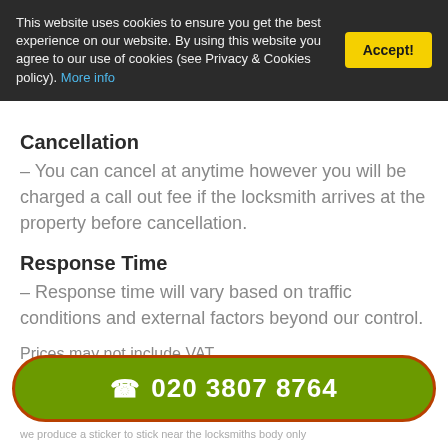This website uses cookies to ensure you get the best experience on our website. By using this website you agree to our use of cookies (see Privacy & Cookies policy). More info
Cancellation
– You can cancel at anytime however you will be charged a call out fee if the locksmith arrives at the property before cancellation.
Response Time
– Response time will vary based on traffic conditions and external factors beyond our control.
Prices may not include VAT
Locks and Prices
[Figure (infographic): Green rounded rectangle button with orange/brown border showing phone icon and number: 020 3807 8764]
we produce a sticker to stick near the locksmiths body only